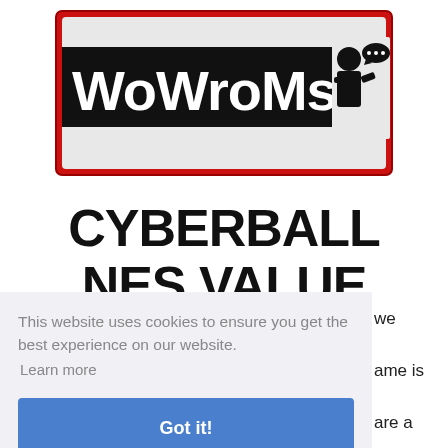[Figure (logo): WoWroMs website logo — bold text 'WoWroMs' in white on black with red border, silhouette figures on right]
CYBERBALL NES VALUE
This website uses cookies to ensure you get the best experience on our website. Learn more
Got it!
we ame is are a 5,000 below